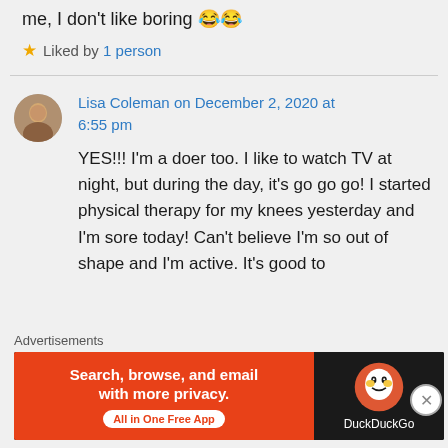me, I don't like boring 😂😂
★ Liked by 1 person
Lisa Coleman on December 2, 2020 at 6:55 pm
YES!!! I'm a doer too. I like to watch TV at night, but during the day, it's go go go! I started physical therapy for my knees yesterday and I'm sore today! Can't believe I'm so out of shape and I'm active. It's good to
Advertisements
[Figure (screenshot): DuckDuckGo advertisement banner: orange left half with text 'Search, browse, and email with more privacy. All in One Free App' and dark right half with DuckDuckGo duck logo and brand name.]